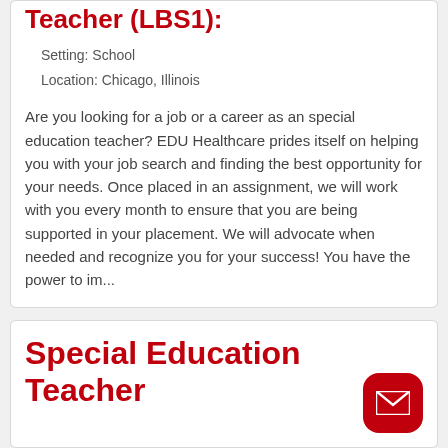Teacher (LBS1):
Setting: School
Location: Chicago, Illinois
Are you looking for a job or a career as an special education teacher? EDU Healthcare prides itself on helping you with your job search and finding the best opportunity for your needs. Once placed in an assignment, we will work with you every month to ensure that you are being supported in your placement. We will advocate when needed and recognize you for your success! You have the power to im...
Special Education Teacher